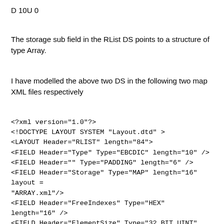D 10U 0
The storage sub field in the RList DS points to a structure of type Array.
I have modelled the above two DS in the following two map XML files respectively
<?xml version="1.0"?>
<!DOCTYPE LAYOUT SYSTEM "Layout.dtd" >
<LAYOUT Header="RLIST" length="84">
<FIELD Header="Type" Type="EBCDIC" length="10" />
<FIELD Header="" Type="PADDING" length="6" />
<FIELD Header="Storage" Type="MAP" length="16" layout = "ARRAY.xml"/>
<FIELD Header="FreeIndexes" Type="HEX" length="16" />
<FIELD Header="ElementSize" Type="32_BIT_UINT" length="4" />